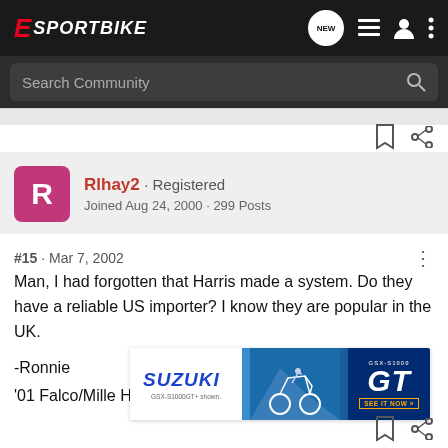E SPORTBIKE
Search Community
Rlhay2 · Registered
Joined Aug 24, 2000 · 299 Posts
#15 · Mar 7, 2002
Man, I had forgotten that Harris made a system. Do they have a reliable US importer? I know they are popular in the UK.

-Ronnie
'01 Falco/Mille Hybrid
[Figure (screenshot): Suzuki GSX-S1000GT advertisement banner showing the motorcycle and GT branding]